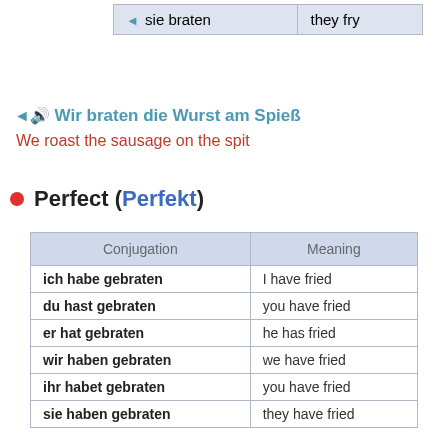| Conjugation | Meaning |
| --- | --- |
| ◄ sie braten | they fry |
◄🔊 Wir braten die Wurst am Spieß
We roast the sausage on the spit
Perfect (Perfekt)
| Conjugation | Meaning |
| --- | --- |
| ich habe gebraten | I have fried |
| du hast gebraten | you have fried |
| er hat gebraten | he has fried |
| wir haben gebraten | we have fried |
| ihr habet gebraten | you have fried |
| sie haben gebraten | they have fried |